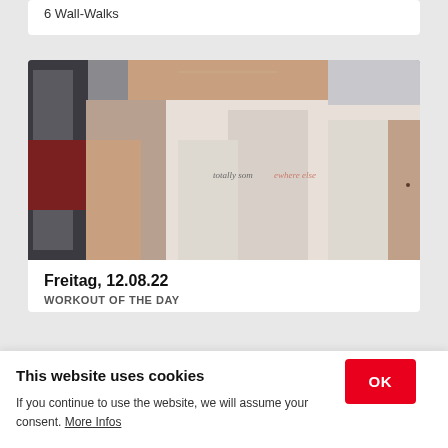6 Wall-Walks
[Figure (photo): Person wearing a white sleeveless shirt with text 'totally somewhere else' at a gym, upper torso and neck visible, mirror and gym equipment in background]
Freitag, 12.08.22
WORKOUT OF THE DAY
This website uses cookies
If you continue to use the website, we will assume your consent. More Infos
OK